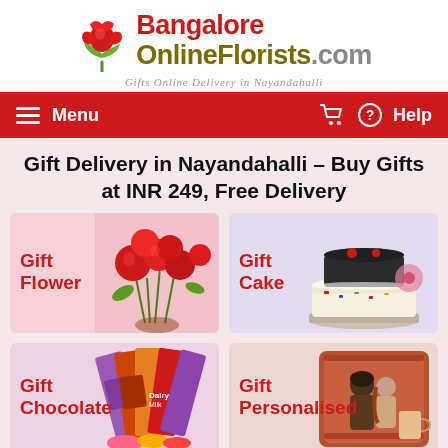[Figure (logo): Bangalore OnlineFlorists.com logo with red rose illustration and tagline 'Gifts Online Delivery in Nayandahalli']
Menu  |  Cart  |  Help
Gift Delivery in Nayandahalli - Buy Gifts at INR 249, Free Delivery
[Figure (photo): Gift Flower card with red flowers bouquet image]
[Figure (photo): Gift Cake card with layered cakes image]
[Figure (photo): Gift Chocolate card with chocolate bars image]
[Figure (photo): Gift Personalised card with couple on pillow image]